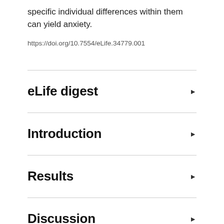specific individual differences within them can yield anxiety.
https://doi.org/10.7554/eLife.34779.001
eLife digest
Introduction
Results
Discussion